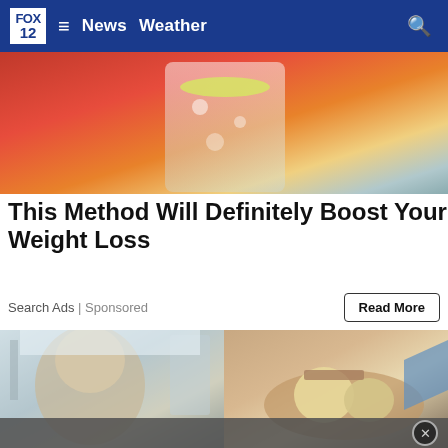FOX 12  ≡  News  Weather
[Figure (photo): Person in red jacket holding a drink with lemon slice and ice, viewed from above]
This Method Will Definitely Boost Your Weight Loss
Search Ads | Sponsored
Read More
[Figure (photo): Split image: left side shows an older man with glasses in a medical corridor; right side shows hands cutting food on a plate with mushrooms and bread]